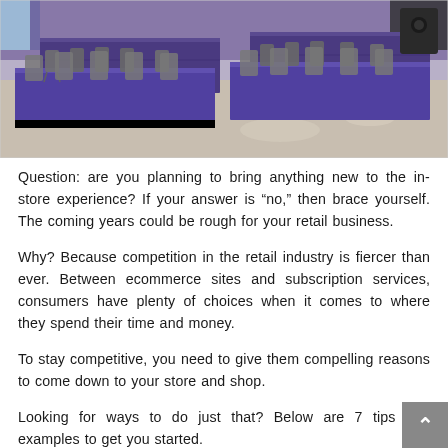[Figure (photo): Indoor photo of tables covered with purple/blue tablecloths and folding chairs arranged in rows on a concrete floor, appears to be an event or conference setup.]
Question: are you planning to bring anything new to the in-store experience? If your answer is “no,” then brace yourself. The coming years could be rough for your retail business.
Why? Because competition in the retail industry is fiercer than ever. Between ecommerce sites and subscription services, consumers have plenty of choices when it comes to where they spend their time and money.
To stay competitive, you need to give them compelling reasons to come down to your store and shop.
Looking for ways to do just that? Below are 7 tips and examples to get you started.